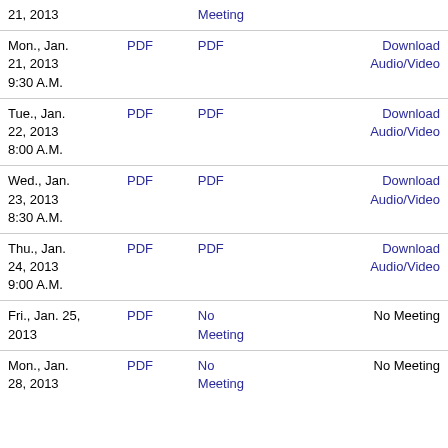| Date | Col2 | Col3 | Col4 | Col5 |
| --- | --- | --- | --- | --- |
| 21, 2013 |  | Meeting |  |  |
| Mon., Jan. 21, 2013 9:30 A.M. | PDF | PDF |  | Download Audio/Video |
| Tue., Jan. 22, 2013 8:00 A.M. | PDF | PDF |  | Download Audio/Video |
| Wed., Jan. 23, 2013 8:30 A.M. | PDF | PDF |  | Download Audio/Video |
| Thu., Jan. 24, 2013 9:00 A.M. | PDF | PDF |  | Download Audio/Video |
| Fri., Jan. 25, 2013 | PDF | No Meeting |  | No Meeting |
| Mon., Jan. 28, 2013 | PDF | No Meeting |  | No Meeting |